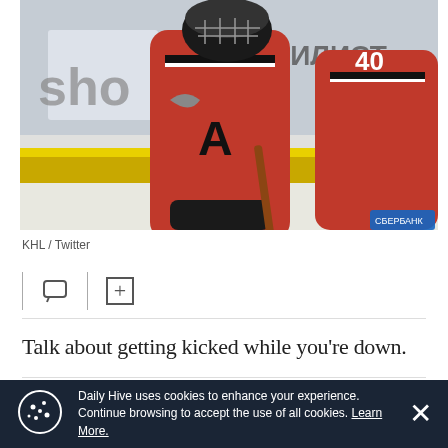[Figure (photo): Hockey players in red jerseys numbered 88 and 40, on ice rink. Background shows partial text 'sho' and Cyrillic text. KHL hockey game.]
KHL / Twitter
Talk about getting kicked while you're down.
ADVERTISEMENT
Daily Hive uses cookies to enhance your experience. Continue browsing to accept the use of all cookies. Learn More.